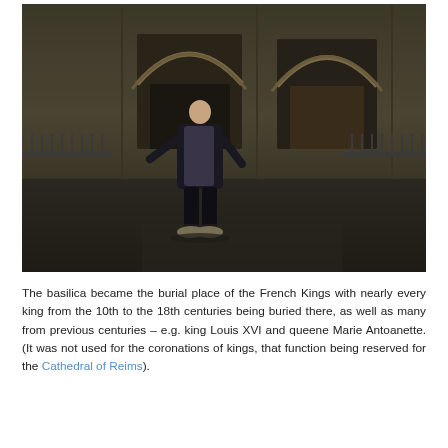[Figure (photo): A person standing in front of a large Gothic cathedral facade at dusk or in dim light. The cathedral has ornate arched doorways and stone carvings. Iron fencing is visible on either side. The scene is dark/low-light.]
The basilica became the burial place of the French Kings with nearly every king from the 10th to the 18th centuries being buried there, as well as many from previous centuries – e.g. king Louis XVI and queene Marie Antoanette. (It was not used for the coronations of kings, that function being reserved for the Cathedral of Reims).